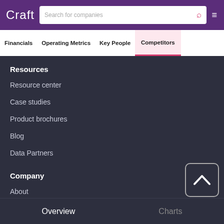Craft | Search for companies
Financials | Operating Metrics | Key People | Competitors
Resources
Resource center
Case studies
Product brochures
Blog
Data Partners
Company
About
Careers
Overview | Charts